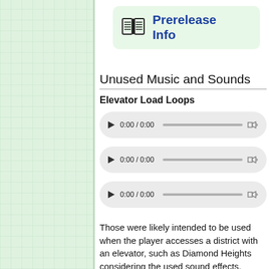[Figure (illustration): Prerelease Info box with book icon and blue bold text 'Prerelease Info' on a light green background]
Unused Music and Sounds
Elevator Load Loops
[Figure (screenshot): Audio player 1: 0:00 / 0:00 with play button, progress bar, and volume icon]
[Figure (screenshot): Audio player 2: 0:00 / 0:00 with play button, progress bar, and volume icon]
[Figure (screenshot): Audio player 3: 0:00 / 0:00 with play button, progress bar, and volume icon]
Those were likely intended to be used when the player accesses a district with an elevator, such as Diamond Heights considering the used sound effects.